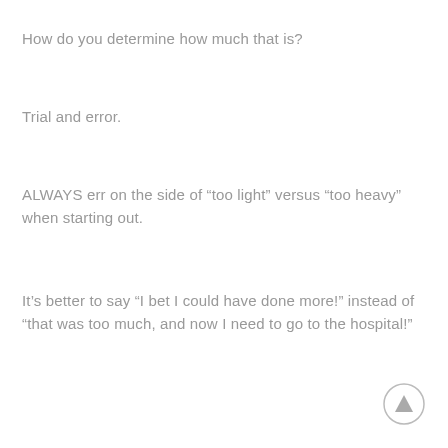How do you determine how much that is?
Trial and error.
ALWAYS err on the side of “too light” versus “too heavy” when starting out.
It’s better to say “I bet I could have done more!” instead of “that was too much, and now I need to go to the hospital!”
[Figure (other): Circular scroll-to-top button with upward triangle arrow icon]